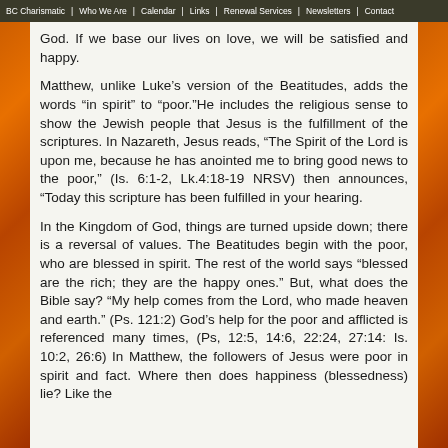BC Charismatic | Who We Are | Calendar | Links | Renewal Services | Newsletters | Contact
God. If we base our lives on love, we will be satisfied and happy.
Matthew, unlike Luke's version of the Beatitudes, adds the words “in spirit” to “poor.”He includes the religious sense to show the Jewish people that Jesus is the fulfillment of the scriptures. In Nazareth, Jesus reads, “The Spirit of the Lord is upon me, because he has anointed me to bring good news to the poor,” (Is. 6:1-2, Lk.4:18-19 NRSV) then announces, “Today this scripture has been fulfilled in your hearing.
In the Kingdom of God, things are turned upside down; there is a reversal of values. The Beatitudes begin with the poor, who are blessed in spirit. The rest of the world says “blessed are the rich; they are the happy ones.” But, what does the Bible say? “My help comes from the Lord, who made heaven and earth.” (Ps. 121:2) God’s help for the poor and afflicted is referenced many times, (Ps, 12:5, 14:6, 22:24, 27:14: Is. 10:2, 26:6) In Matthew, the followers of Jesus were poor in spirit and fact. Where then does happiness (blessedness) lie? Like the